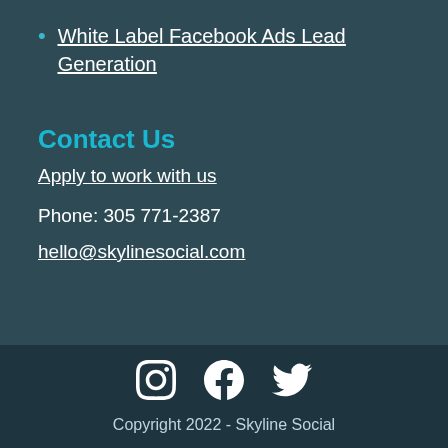White Label Facebook Ads Lead Generation
Contact Us
Apply to work with us
Phone: 305 771-2387
hello@skylinesocial.com
[Figure (other): Social media icons: Instagram, Facebook, Twitter]
Copyright 2022 - Skyline Social